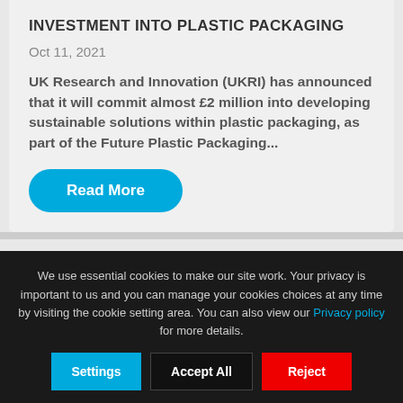INVESTMENT INTO PLASTIC PACKAGING
Oct 11, 2021
UK Research and Innovation (UKRI) has announced that it will commit almost £2 million into developing sustainable solutions within plastic packaging, as part of the Future Plastic Packaging...
Read More
We use essential cookies to make our site work. Your privacy is important to us and you can manage your cookies choices at any time by visiting the cookie setting area. You can also view our Privacy policy for more details.
Settings | Accept All | Reject